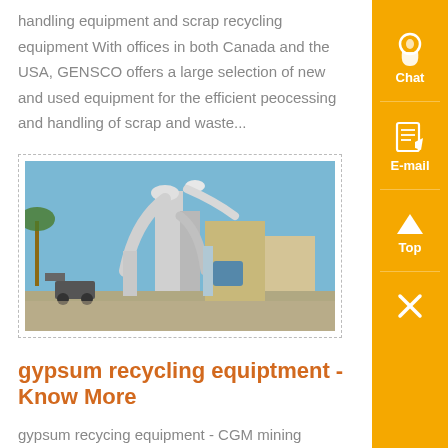handling equipment and scrap recycling equipment With offices in both Canada and the USA, GENSCO offers a large selection of new and used equipment for the efficient peocessing and handling of scrap and waste...
[Figure (photo): Industrial plant with large pipes, ducts and processing equipment against a blue sky]
gypsum recycling equiptment - Know More
gypsum recycing equipment - CGM mining appliion Gypsum Recycling America - Welcome to GRA Gypsum Recycling America - New Englands only provider of a complete , Our state of the art equipment is capable of , gypsum recycing equipment - crusherasia...
[Figure (photo): Partial view of another industrial equipment photo at the bottom of the page]